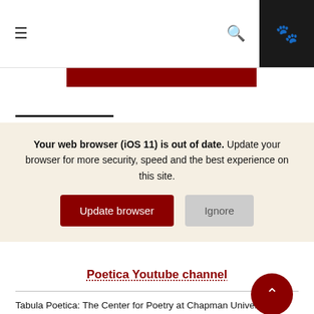≡  🔍  🐾
[Figure (screenshot): Browser update notification banner overlay with text: 'Your web browser (iOS 11) is out of date. Update your browser for more security, speed and the best experience on this site.' with two buttons: 'Update browser' and 'Ignore']
Poetica Youtube channel
Tabula Poetica: The Center for Poetry at Chapman University is dedicated to creating an environment to celebrate poetry in a variety of forms and venues. We foster a culture of poetry appreciation by engaging and supporting the veteran writer, the novice poet, the student, and the general reader in an effort to share poems and